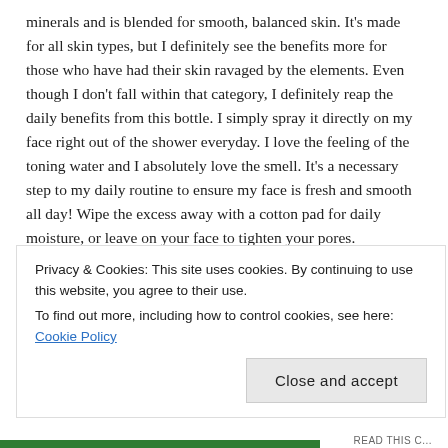minerals and is blended for smooth, balanced skin. It's made for all skin types, but I definitely see the benefits more for those who have had their skin ravaged by the elements. Even though I don't fall within that category, I definitely reap the daily benefits from this bottle. I simply spray it directly on my face right out of the shower everyday. I love the feeling of the toning water and I absolutely love the smell. It's a necessary step to my daily routine to ensure my face is fresh and smooth all day! Wipe the excess away with a cotton pad for daily moisture, or leave on your face to tighten your pores.

My single qualm with this wonderful product is the spray. With other toning waters I've used the spray range covers my whole face easily, so only a spray or two are necessary. But with this bottle the spray is very direct and strong and rather than one spritz covering my whole
Privacy & Cookies: This site uses cookies. By continuing to use this website, you agree to their use.
To find out more, including how to control cookies, see here: Cookie Policy
Close and accept